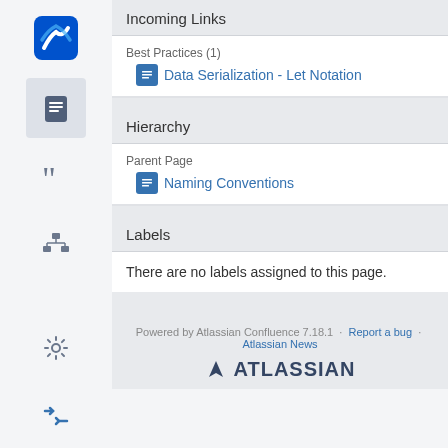Incoming Links
Best Practices (1)
Data Serialization - Let Notation
Hierarchy
Parent Page
Naming Conventions
Labels
There are no labels assigned to this page.
Powered by Atlassian Confluence 7.18.1 · Report a bug · Atlassian News